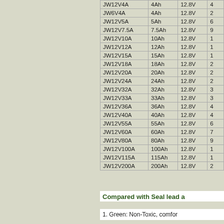| Model | Capacity | Voltage | ... |
| --- | --- | --- | --- |
| JW12V4A | 4Ah | 12.8V | 4 |
| JW6V4A | 4Ah | 12.8V | 2 |
| JW12V5A | 5Ah | 12.8V | 6 |
| JW12V7.5A | 7.5Ah | 12.8V | 9 |
| JW12V10A | 10Ah | 12.8V | 1 |
| JW12V12A | 12Ah | 12.8V | 1 |
| JW12V15A | 15Ah | 12.8V | 1 |
| JW12V18A | 18Ah | 12.8V | 2 |
| JW12V20A | 20Ah | 12.8V | 2 |
| JW12V24A | 24Ah | 12.8V | 2 |
| JW12V32A | 32Ah | 12.8V | 3 |
| JW12V33A | 33Ah | 12.8V | 3 |
| JW12V36A | 36Ah | 12.8V | 4 |
| JW12V40A | 40Ah | 12.8V | 4 |
| JW12V55A | 55Ah | 12.8V | 6 |
| JW12V60A | 60Ah | 12.8V | 7 |
| JW12V80A | 80Ah | 12.8V | 9 |
| JW12V100A | 100Ah | 12.8V | 1 |
| JW12V115A | 115Ah | 12.8V | 1 |
| JW12V200A | 200Ah | 12.8V | 2 |
Compared with Seal lead a
1. Green: Non-Toxic, comfor